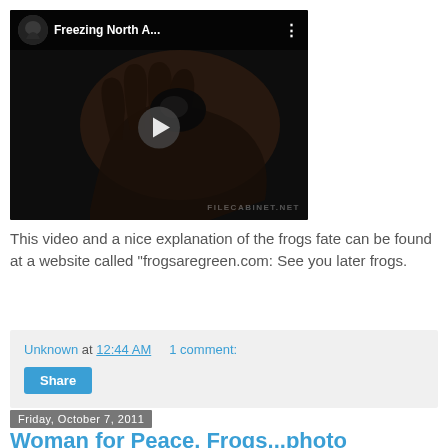[Figure (screenshot): YouTube video thumbnail showing a frozen frog being held in a hand, with title 'Freezing North A...' and a play button overlay. A watermark reads FILECABINET.NET.]
This video and a nice explanation of the frogs fate can be found at a website called "frogsaregreen.com: See you later frogs.
Unknown at 12:44 AM   1 comment:
Share
Friday, October 7, 2011
Woman for Peace, Frog...